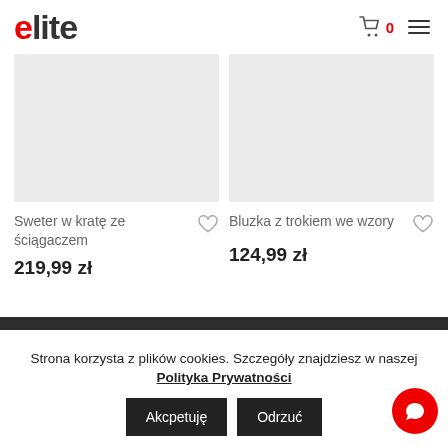[Figure (logo): Elite logo — 'e' in red, 'lite' in dark gray]
[Figure (screenshot): Shopping cart icon with 0 count and hamburger menu icon]
[Figure (photo): Product image placeholder (light gray) for Sweter w kratę ze ściągaczem]
Sweter w kratę ze ściągaczem
219,99 zł
[Figure (photo): Product image placeholder (light gray) for Bluzka z trokiem we wzory]
Bluzka z trokiem we wzory
124,99 zł
Strona korzysta z plików cookies. Szczegóły znajdziesz w naszej Polityka Prywatności
Akcpetuję
Odrzuć